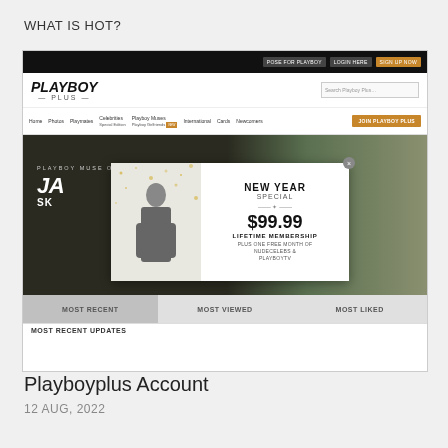WHAT IS HOT?
[Figure (screenshot): Screenshot of Playboy Plus website showing navigation, hero image with 'Playboy Muse of the Month', and a New Year Special popup advertising $99.99 Lifetime Membership]
Playboyplus Account
12 AUG, 2022